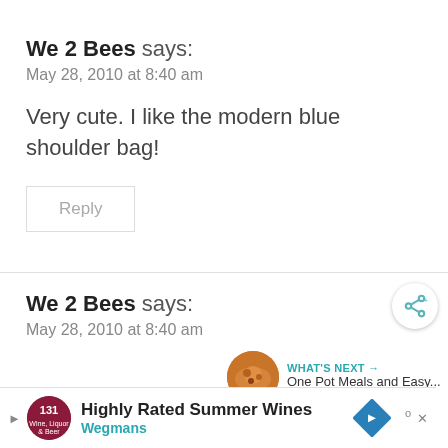We 2 Bees says:
May 28, 2010 at 8:40 am
Very cute. I like the modern blue shoulder bag!
Reply
We 2 Bees says:
May 28, 2010 at 8:40 am
[Figure (screenshot): WHAT'S NEXT arrow label with food image thumbnail. Text: One Pot Meals and Easy...]
[Figure (screenshot): Advertisement bar: Highly Rated Summer Wines - Wegmans, with logo, navigation arrow, and weather icon]